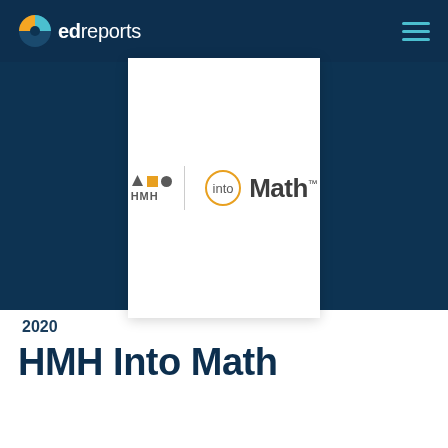[Figure (logo): EdReports logo with pie-chart icon and 'edreports' text in white on dark navy header]
[Figure (logo): HMH Into Math product logo on white card: HMH geometric shapes with 'HMH' text, divider line, 'into' inside orange circle, 'Math' bold text with trademark symbol]
2020
HMH Into Math